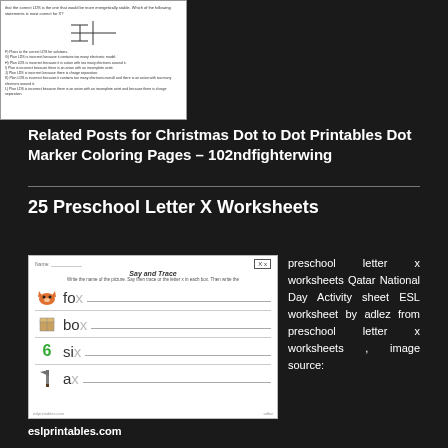[Figure (screenshot): Small screenshot of a chemistry/science worksheet with multiple choice questions and a molecular diagram]
Related Posts for Christmas Dot to Dot Printables Dot Marker Coloring Pages – 102ndfighterwing
25 Preschool Letter X Worksheets
[Figure (screenshot): Worksheet preview showing 'Say and Trace' activity with Xx in box, images of fox, box, six, ax with dotted letter x to trace]
preschool letter x worksheets Qatar National Day Activity sheet ESL worksheet by adlez from preschool letter x worksheets , image source:
eslprintables.com